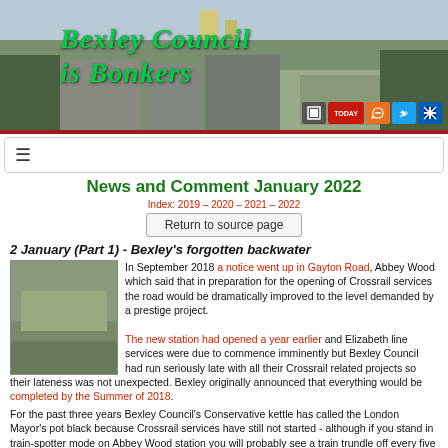[Figure (photo): Banner photo of Bexley area with buildings and road, overlaid with 'Bexley Council is Bonkers' text in green italic font and social media icons in bottom right]
News and Comment January 2022
Index: 2019 – 2020 – 2021 – 2022
Return to source page
2 January (Part 1) - Bexley's forgotten backwater
[Figure (photo): Small landscape photo, appears to show outdoor scene]
In September 2018 a notice went up in Gayton Road, Abbey Wood which said that in preparation for the opening of Crossrail services the road would be dramatically improved to the level demanded by a prestige project.

The new station had opened a year earlier and Elizabeth line services were due to commence imminently but Bexley Council had run seriously late with all their Crossrail related projects so their lateness was not unexpected. Bexley originally announced that everything would be completed by the Summer of 2018.
For the past three years Bexley Council's Conservative kettle has called the London Mayor's pot black because Crossrail services have still not started - although if you stand in train-spotter mode on Abbey Wood station you will probably see a train trundle off every five minutes.
In fact Bexley Council is just as far behind with its own relatively simple Gayton Road project without any obvious excuse. The upgrade is still not completed; the stairs to the flyover and station are still inaccessible.
The barricade is not very effective at flyover level because there are two easy access routes past the ironmongery and if you venture that far you will find the stairs apparently completed and ready for use.
The railway is protected from vandalism by a a substantial mesh fence. The old concrete steps are neatly covered with aluminium and the paved area is rather nicely finished off with some sort of aspha